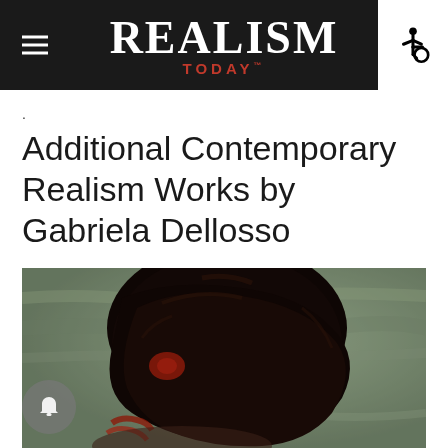REALISM TODAY
.
Additional Contemporary Realism Works by Gabriela Dellosso
[Figure (photo): A realist oil painting showing the back of a person's head with dark hair, painted in muted greens, browns, and dark tones. The figure faces away from the viewer, showing only the back of the head and hints of a red collar or garment. The painting style is loose and expressive with visible brushwork.]